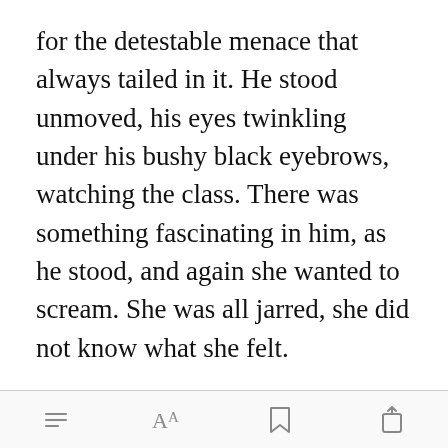for the detestable menace that always tailed in it. He stood unmoved, his eyes twinkling under his bushy black eyebrows, watching the class. There was something fascinating in him, as he stood, and again she wanted to scream. She was all jarred, she did not know what she felt.
"Well, Alice?"
[Figure (screenshot): Mobile app toolbar with menu (hamburger lines), font size (AA), bookmark, and share icons]